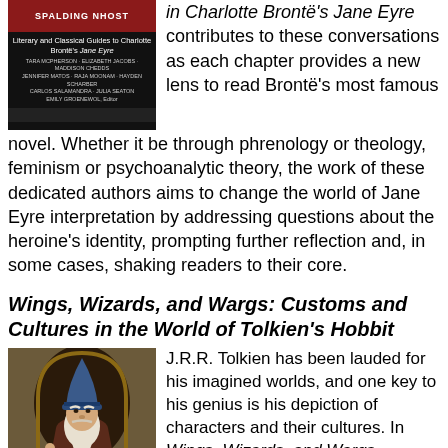[Figure (illustration): Book cover for a work about Charlotte Bronte's Jane Eyre, with red bar at top, white title text, author names, and black background]
in Charlotte Bronte's Jane Eyre contributes to these conversations as each chapter provides a new lens to read Bronte's most famous novel. Whether it be through phrenology or theology, feminism or psychoanalytic theory, the work of these dedicated authors aims to change the world of Jane Eyre interpretation by addressing questions about the heroine's identity, prompting further reflection and, in some cases, shaking readers to their core.
Wings, Wizards, and Wargs: Customs and Cultures in the World of Tolkien's Hobbit
[Figure (illustration): Illustrated painting of a wizard with a blue hat and long white beard, reminiscent of Gandalf from The Hobbit]
J.R.R. Tolkien has been lauded for his imagined worlds, and one key to his genius is his depiction of characters and their cultures. In Wings, Wizards, and Wargs...